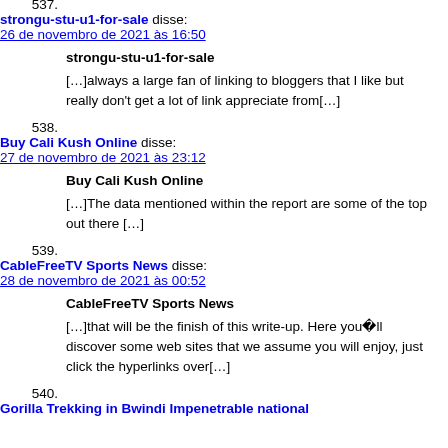[…]usually posts some extremely fascinating stuff like this. If you are new to this site[…]
537. strongu-stu-u1-for-sale disse: 26 de novembro de 2021 às 16:50 — strongu-stu-u1-for-sale — […]always a large fan of linking to bloggers that I like but really don't get a lot of link appreciate from[…]
538. Buy Cali Kush Online disse: 27 de novembro de 2021 às 23:12 — Buy Cali Kush Online — […]The data mentioned within the report are some of the top out there […]
539. CableFreeTV Sports News disse: 28 de novembro de 2021 às 00:52 — CableFreeTV Sports News — […]that will be the finish of this write-up. Here you&#xFFFC;ll discover some web sites that we assume you will enjoy, just click the hyperlinks over[…]
540. Gorilla Trekking in Bwindi Impenetrable national…